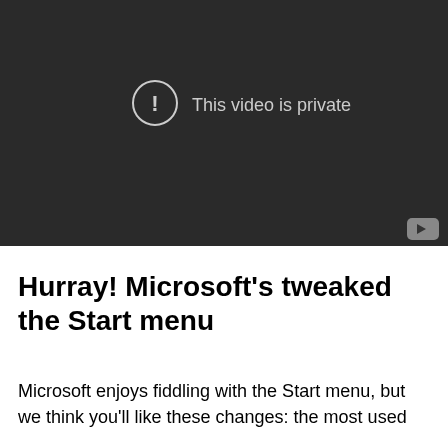[Figure (screenshot): Video player showing a private video message. Dark background with a circle exclamation icon and text 'This video is private'. A YouTube play button icon is visible in the bottom right corner.]
Hurray! Microsoft's tweaked the Start menu
Microsoft enjoys fiddling with the Start menu, but we think you'll like these changes: the most used